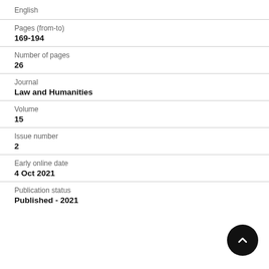English
Pages (from-to)
169-194
Number of pages
26
Journal
Law and Humanities
Volume
15
Issue number
2
Early online date
4 Oct 2021
Publication status
Published - 2021